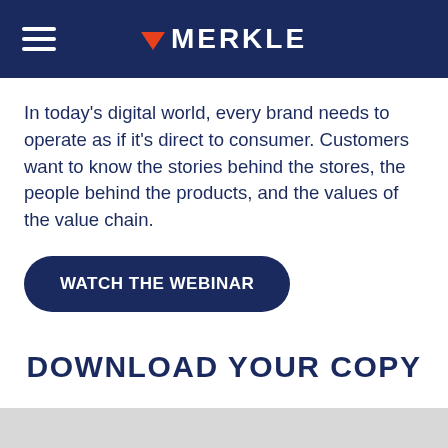MERKLE
In today's digital world, every brand needs to operate as if it's direct to consumer. Customers want to know the stories behind the stores, the people behind the products, and the values of the value chain.
WATCH THE WEBINAR
DOWNLOAD YOUR COPY